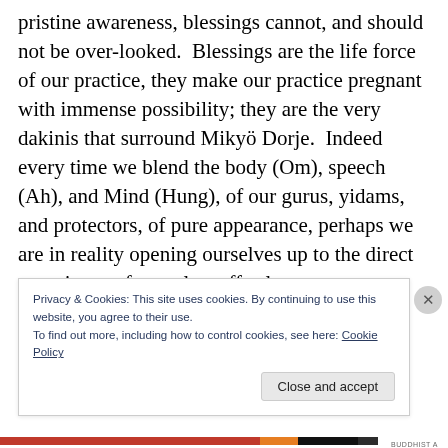pristine awareness, blessings cannot, and should not be over-looked.  Blessings are the life force of our practice, they make our practice pregnant with immense possibility; they are the very dakinis that surround Mikyö Dorje.  Indeed every time we blend the body (Om), speech (Ah), and Mind (Hung), of our gurus, yidams, and protectors, of pure appearance, perhaps we are in reality opening ourselves up to the direct experience of complete effortless empowerment.  It seems that this may be the way through which we may share the same primordial wakefulness. the essential blissful luminosity. and direct
Privacy & Cookies: This site uses cookies. By continuing to use this website, you agree to their use.
To find out more, including how to control cookies, see here: Cookie Policy
Close and accept